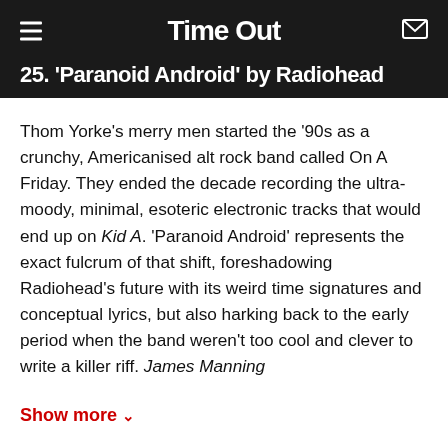Time Out
25. 'Paranoid Android' by Radiohead
Thom Yorke's merry men started the '90s as a crunchy, Americanised alt rock band called On A Friday. They ended the decade recording the ultra-moody, minimal, esoteric electronic tracks that would end up on Kid A. 'Paranoid Android' represents the exact fulcrum of that shift, foreshadowing Radiohead's future with its weird time signatures and conceptual lyrics, but also harking back to the early period when the band weren't too cool and clever to write a killer riff. James Manning
Show more